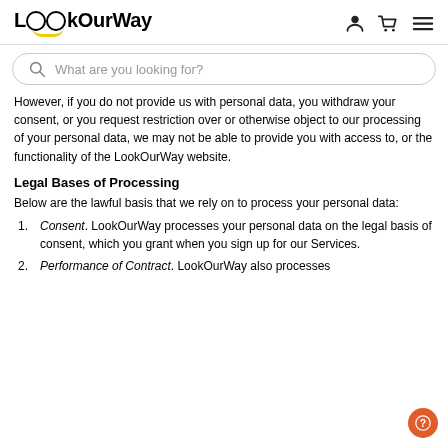LookOurWay
However, if you do not provide us with personal data, you withdraw your consent, or you request restriction over or otherwise object to our processing of your personal data, we may not be able to provide you with access to, or the functionality of the LookOurWay website.
Legal Bases of Processing
Below are the lawful basis that we rely on to process your personal data:
Consent. LookOurWay processes your personal data on the legal basis of consent, which you grant when you sign up for our Services.
Performance of Contract. LookOurWay also processes